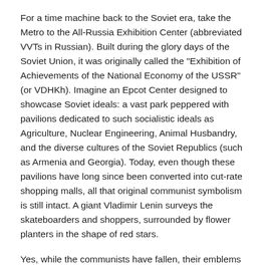For a time machine back to the Soviet era, take the Metro to the All-Russia Exhibition Center (abbreviated VVTs in Russian). Built during the glory days of the Soviet Union, it was originally called the "Exhibition of Achievements of the National Economy of the USSR" (or VDHKh). Imagine an Epcot Center designed to showcase Soviet ideals: a vast park peppered with pavilions dedicated to such socialistic ideals as Agriculture, Nuclear Engineering, Animal Husbandry, and the diverse cultures of the Soviet Republics (such as Armenia and Georgia). Today, even though these pavilions have long since been converted into cut-rate shopping malls, all that original communist symbolism is still intact. A giant Vladimir Lenin surveys the skateboarders and shoppers, surrounded by flower planters in the shape of red stars.
Yes, while the communists have fallen, their emblems remain. In former Soviet satellites like Warsaw, Budapest, and Prague, these symbols were a sign of hated foreign oppression, torn down along with the Berlin Wall. But here in Russia, the red stars and hammers and sickles are indigenous. They're just one chapter...